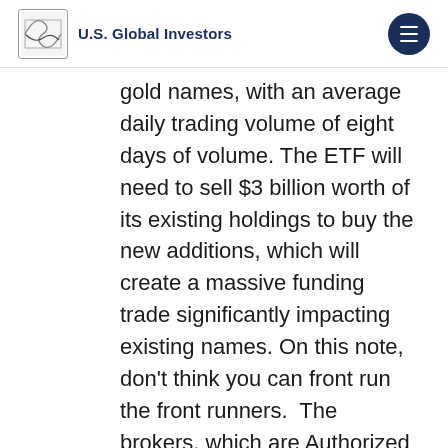U.S. Global Investors
gold names, with an average daily trading volume of eight days of volume. The ETF will need to sell $3 billion worth of its existing holdings to buy the new additions, which will create a massive funding trade significantly impacting existing names. On this note, don't think you can front run the front runners.  The brokers, which are Authorized Participants to create the shares for the ETF, will spend the next eight weeks going short and long the expected index changes, largely excluding any outside parties from getting a piece of the trade. Speculators who show up to trade on the rebalance date likely won't get